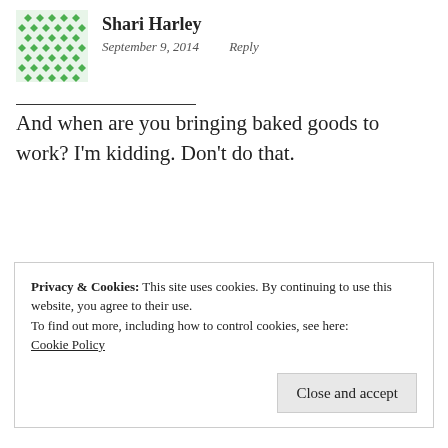[Figure (illustration): Green geometric patterned avatar for Shari Harley]
Shari Harley
September 9, 2014    Reply
And when are you bringing baked goods to work? I'm kidding. Don’t do that.
[Figure (photo): Black and white photo avatar for Danielle Alexander]
Danielle Alexander
September 9, 2014    Reply
Privacy & Cookies: This site uses cookies. By continuing to use this website, you agree to their use.
To find out more, including how to control cookies, see here:
Cookie Policy
Close and accept